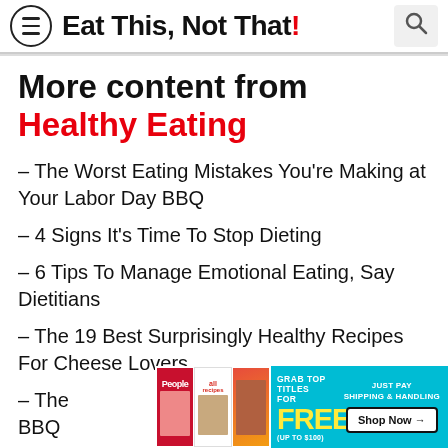Eat This, Not That!
More content from Healthy Eating
– The Worst Eating Mistakes You're Making at Your Labor Day BBQ
– 4 Signs It's Time To Stop Dieting
– 6 Tips To Manage Emotional Eating, Say Dietitians
– The 19 Best Surprisingly Healthy Recipes For Cheese Lovers
– The … r BBQ
[Figure (screenshot): Advertisement banner: magazines (People, allrecipes, food photo) with text 'GRAB TOP TITLES FOR FREE! (UP TO $100)' and 'JUST PAY SHIPPING & HANDLING' with 'Shop Now →' button on cyan background]